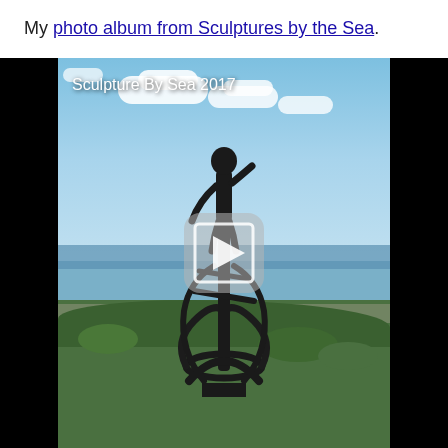My photo album from Sculptures by the Sea.
[Figure (photo): A photo album thumbnail showing a tall dark bronze sculpture of a human figure balanced atop an abstract structure of curved metal forms, set against a blue sky with clouds and green coastal vegetation. Overlaid with white text 'Sculpture By Sea 2017' in the top-left and a video play button in the center. Black bars on left and right sides.]